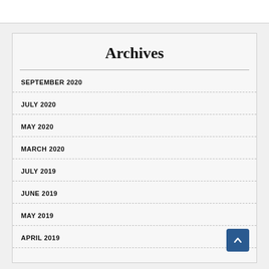Archives
SEPTEMBER 2020
JULY 2020
MAY 2020
MARCH 2020
JULY 2019
JUNE 2019
MAY 2019
APRIL 2019